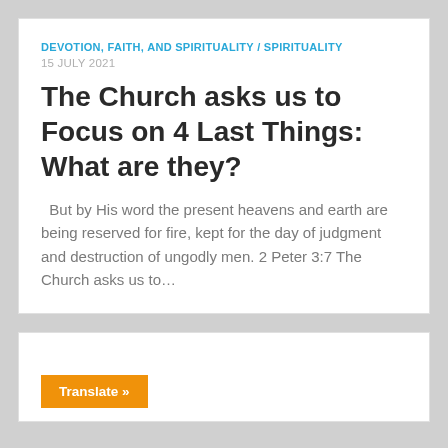DEVOTION, FAITH, AND SPIRITUALITY / SPIRITUALITY
15 JULY 2021
The Church asks us to Focus on 4 Last Things: What are they?
But by His word the present heavens and earth are being reserved for fire, kept for the day of judgment and destruction of ungodly men. 2 Peter 3:7 The Church asks us to...
Translate »